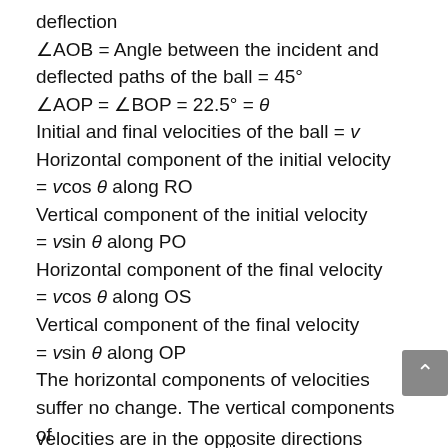deflection
∠AOB = Angle between the incident and deflected paths of the ball = 45°
∠AOP = ∠BOP = 22.5° = θ
Initial and final velocities of the ball = v
Horizontal component of the initial velocity = vcos θ along RO
Vertical component of the initial velocity = vsin θ along PO
Horizontal component of the final velocity = vcos θ along OS
Vertical component of the final velocity = vsin θ along OP
The horizontal components of velocities suffer no change. The vertical components of velocities are in the opposite directions